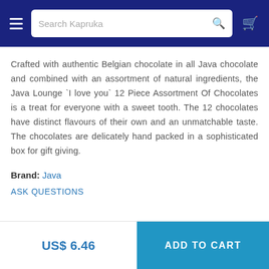Search Kapruka
Crafted with authentic Belgian chocolate in all Java chocolate and combined with an assortment of natural ingredients, the Java Lounge `I love you` 12 Piece Assortment Of Chocolates is a treat for everyone with a sweet tooth. The 12 chocolates have distinct flavours of their own and an unmatchable taste. The chocolates are delicately hand packed in a sophisticated box for gift giving.
Brand: Java
ASK QUESTIONS
US$ 6.46
ADD TO CART